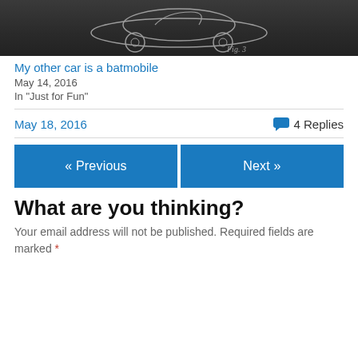[Figure (photo): Chalkboard drawing of a car (batmobile patent sketch), dark background with chalk-style illustration]
My other car is a batmobile
May 14, 2016
In "Just for Fun"
May 18, 2016
4 Replies
« Previous
Next »
What are you thinking?
Your email address will not be published. Required fields are marked *